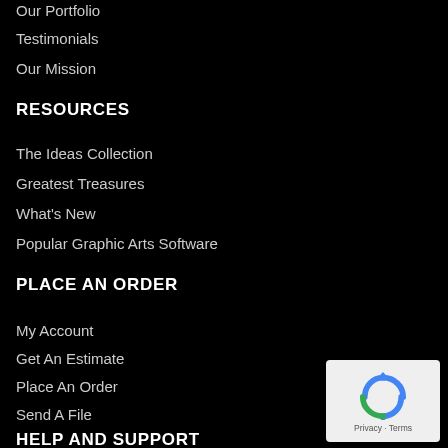Our Portfolio
Testimonials
Our Mission
RESOURCES
The Ideas Collection
Greatest Treasures
What's New
Popular Graphic Arts Software
PLACE AN ORDER
My Account
Get An Estimate
Place An Order
Send A File
Customer Service
HELP AND SUPPORT
[Figure (logo): reCAPTCHA widget showing circular arrow logo with Privacy and Terms text below]